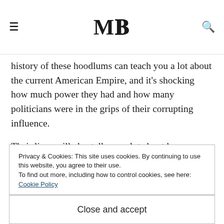MB (logo)
history of these hoodlums can teach you a lot about the current American Empire, and it's shocking how much power they had and how many politicians were in the grips of their corrupting influence.
Their lives will also tell you a lot about human nature. This is the thing that Scorsese and the storytellers of HBO like David Chase (creator of The Sopranos) and Terence Winter (creator of Boardwalk Empire) tackle so brilliantly in their respective mediums. It's the fragile humanity of these hoodlums, from
Privacy & Cookies: This site uses cookies. By continuing to use this website, you agree to their use.
To find out more, including how to control cookies, see here: Cookie Policy
Close and accept
But no matter how despicable their actions, we cannot hate